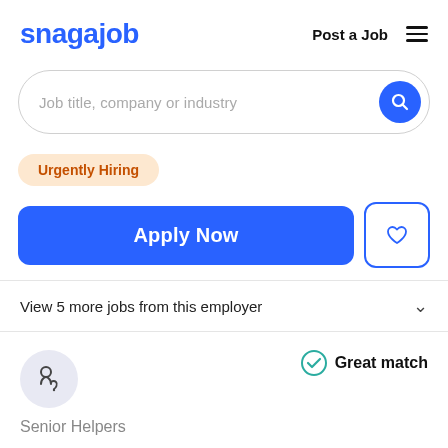snagajob   Post a Job  ☰
Job title, company or industry
Urgently Hiring
Apply Now
View 5 more jobs from this employer
[Figure (logo): Stethoscope icon in a light blue-gray circle]
Great match
Senior Helpers